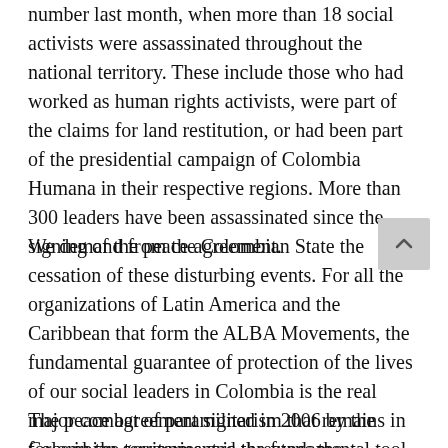number last month, when more than 18 social activists were assassinated throughout the national territory. These include those who had worked as human rights activists, were part of the claims for land restitution, or had been part of the presidential campaign of Colombia Humana in their respective regions. More than 300 leaders have been assassinated since the signing of the peace agreement.
We demand from the Colombian State the cessation of these disturbing events. For all the organizations of Latin America and the Caribbean that form the ALBA Movements, the fundamental guarantee of protection of the lives of our social leaders in Colombia is the real major combat of paramilitarism that remains in force in the territories and threatens the consolidation of the much desired peace for the Colombian people.
The peace agreement signed in 2006 by the Colombian government is the fundamental tool to protect the social